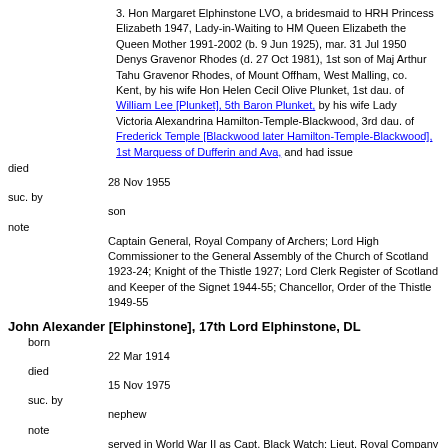3. Hon Margaret Elphinstone LVO, a bridesmaid to HRH Princess Elizabeth 1947, Lady-in-Waiting to HM Queen Elizabeth the Queen Mother 1991-2002 (b. 9 Jun 1925), mar. 31 Jul 1950 Denys Gravenor Rhodes (d. 27 Oct 1981), 1st son of Maj Arthur Tahu Gravenor Rhodes, of Mount Offham, West Malling, co. Kent, by his wife Hon Helen Cecil Olive Plunket, 1st dau. of William Lee [Plunket], 5th Baron Plunket, by his wife Lady Victoria Alexandrina Hamilton-Temple-Blackwood, 3rd dau. of Frederick Temple [Blackwood later Hamilton-Temple-Blackwood], 1st Marquess of Dufferin and Ava, and had issue
died
28 Nov 1955
suc. by
son
note
Captain General, Royal Company of Archers; Lord High Commissioner to the General Assembly of the Church of Scotland 1923-24; Knight of the Thistle 1927; Lord Clerk Register of Scotland and Keeper of the Signet 1944-55; Chancellor, Order of the Thistle 1949-55
John Alexander [Elphinstone], 17th Lord Elphinstone, DL
born
22 Mar 1914
died
15 Nov 1975
suc. by
nephew
note
served in World War II as Capt, Black Watch; Lieut, Royal Company of Archers; President, Scottish Association of Boys' Clubs; Chairman of Council, Scottish Branch of British Red Cross Society; President, Royal Zoological Society of Scotland; Director: Bank of Scotland and Scottish Provident Institute
James Alexander [Elphinstone], 18th Lord Elphinstone
born
22 Apr 1953